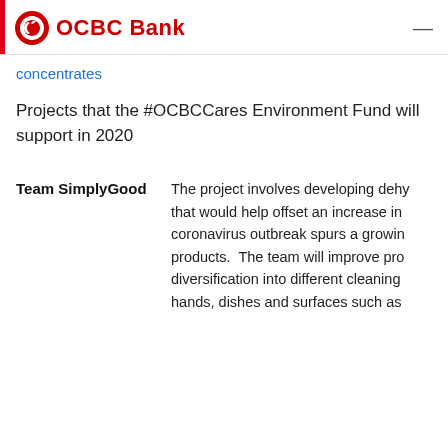OCBC Bank
concentrates
Projects that the #OCBCCares Environment Fund will support in 2020
Team SimplyGood    The project involves developing dehy that would help offset an increase in coronavirus outbreak spurs a growin products.  The team will improve pro diversification into different cleaning hands, dishes and surfaces such as